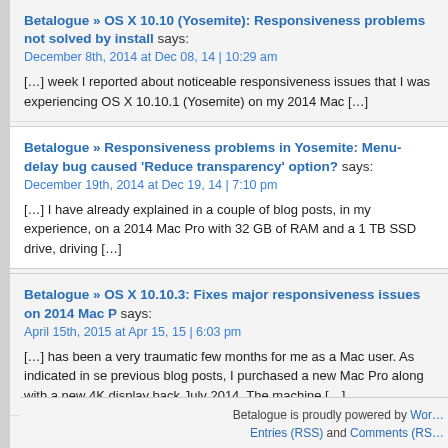Betalogue » OS X 10.10 (Yosemite): Responsiveness problems not solved by install says:
December 8th, 2014 at Dec 08, 14 | 10:29 am
[…] week I reported about noticeable responsiveness issues that I was experiencing OS X 10.10.1 (Yosemite) on my 2014 Mac […]
Betalogue » Responsiveness problems in Yosemite: Menu-delay bug caused 'Reduce transparency' option? says:
December 19th, 2014 at Dec 19, 14 | 7:10 pm
[…] I have already explained in a couple of blog posts, in my experience, on a 2014 Mac Pro with 32 GB of RAM and a 1 TB SSD drive, driving […]
Betalogue » OS X 10.10.3: Fixes major responsiveness issues on 2014 Mac P says:
April 15th, 2015 at Apr 15, 15 | 6:03 pm
[…] has been a very traumatic few months for me as a Mac user. As indicated in se previous blog posts, I purchased a new Mac Pro along with a new 4K display back July 2014. The machine […]
Betalogue is proudly powered by WordPress. Entries (RSS) and Comments (RSS)